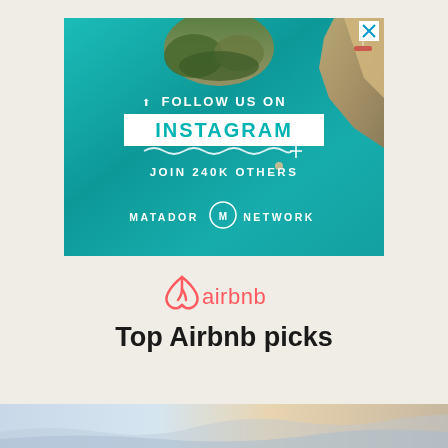[Figure (other): Advertisement banner for Matador Network Instagram. Aerial teal ocean water with rocks. Text: FOLLOW US ON INSTAGRAM, JOIN 240K OTHERS, MATADOR NETWORK with logo. Close button with X in top right corner.]
[Figure (logo): Airbnb logo with pink/coral loop icon and airbnb text in matching color]
Top Airbnb picks
[Figure (photo): Bottom strip showing partial scenic landscape photo]